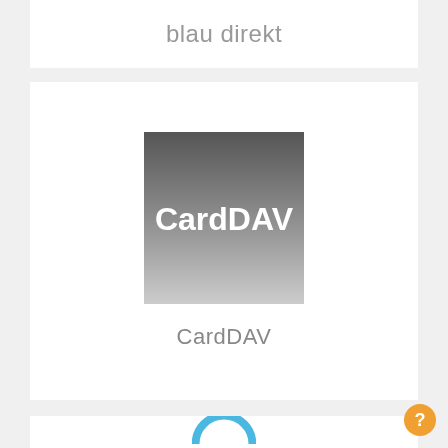blau direkt
[Figure (logo): CardDAV app icon — square image with dark gray to light gray gradient background with white bold 'CardDAV' text centered]
CardDAV
[Figure (illustration): Partial view of a blue arc/semicircle shape, appearing to be the top portion of a circular logo, cropped at the bottom of the page]